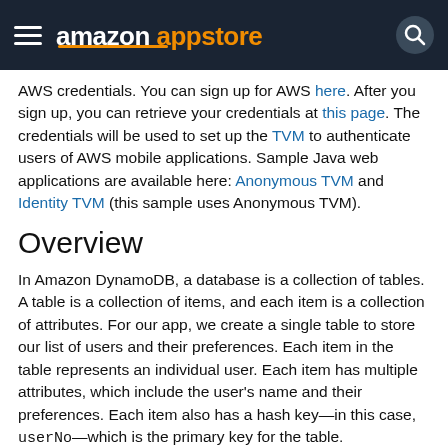amazon appstore
AWS credentials. You can sign up for AWS here. After you sign up, you can retrieve your credentials at this page. The credentials will be used to set up the TVM to authenticate users of AWS mobile applications. Sample Java web applications are available here: Anonymous TVM and Identity TVM (this sample uses Anonymous TVM).
Overview
In Amazon DynamoDB, a database is a collection of tables. A table is a collection of items, and each item is a collection of attributes. For our app, we create a single table to store our list of users and their preferences. Each item in the table represents an individual user. Each item has multiple attributes, which include the user's name and their preferences. Each item also has a hash key—in this case, userNo—which is the primary key for the table.
The app demonstrates how to add and remove users, and modify and retrieve their preference data. The app